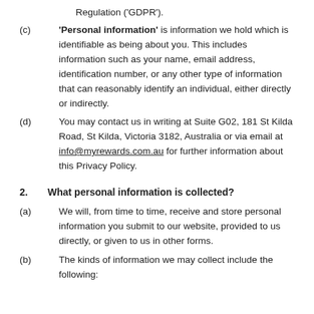Regulation ('GDPR').
'Personal information' is information we hold which is identifiable as being about you. This includes information such as your name, email address, identification number, or any other type of information that can reasonably identify an individual, either directly or indirectly.
You may contact us in writing at Suite G02, 181 St Kilda Road, St Kilda, Victoria 3182, Australia or via email at info@myrewards.com.au for further information about this Privacy Policy.
2. What personal information is collected?
We will, from time to time, receive and store personal information you submit to our website, provided to us directly, or given to us in other forms.
The kinds of information we may collect include the following: